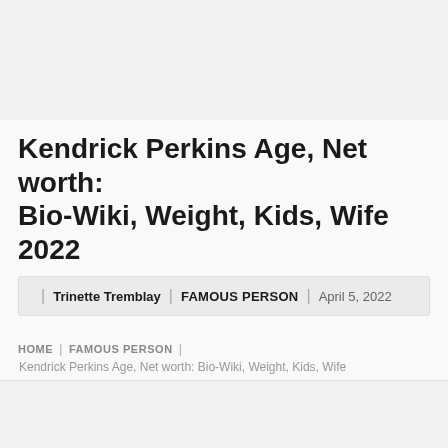Kendrick Perkins Age, Net worth: Bio-Wiki, Weight, Kids, Wife 2022
Trinette Tremblay | FAMOUS PERSON | April 5, 2022
HOME | FAMOUS PERSON | Kendrick Perkins Age, Net worth: Bio-Wiki, Weight, Kids, Wife